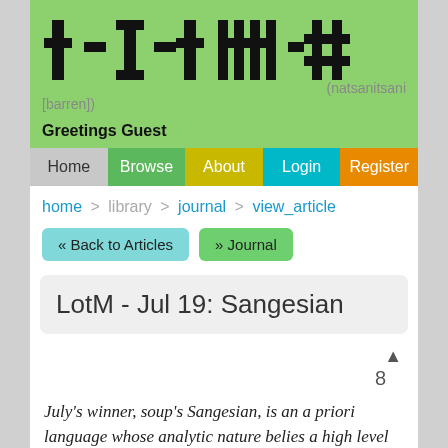[Figure (logo): Constructed script logo with thick geometric characters resembling crosses and hash marks in black on green background]
(natsanitsani [barren])
Greetings Guest
Home | Browse | About | Login | Register
home > library > journal > view_article
« Back to Articles  » Journal
LotM - Jul 19: Sangesian
▲ 8
July's winner, soup's Sangesian, is an a priori language whose analytic nature belies a high level of morphosyntactic complexity, particularly in alignment and syntax, as well as